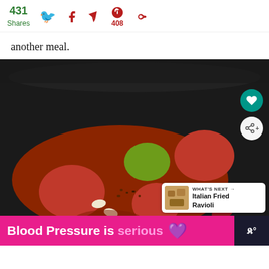431 Shares | Twitter | Facebook | Flipboard | Pinterest 408 | Other
another meal.
[Figure (photo): Food photo showing a dark pan or pot with tomatoes, beans (white and kidney beans), a green pepper, and meat in a tomato sauce, resembling a chili or stew. UI overlays include a teal heart button, a share button, and a 'What's Next: Italian Fried Ravioli' card. Below is an ad bar reading 'Blood Pressure is serious' with a purple heart.]